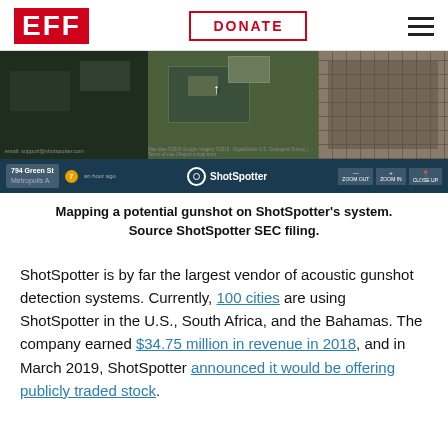EFF | DONATE
[Figure (screenshot): Screenshot of ShotSpotter's web interface showing a satellite map with '794 Green St, Metropolis A' address and the ShotSpotter logo in a dark blue bottom bar with controls.]
Mapping a potential gunshot on ShotSpotter's system. Source ShotSpotter SEC filing.
ShotSpotter is by far the largest vendor of acoustic gunshot detection systems. Currently, 100 cities are using ShotSpotter in the U.S., South Africa, and the Bahamas. The company earned $34.75 million in revenue in 2018, and in March 2019, ShotSpotter announced it would be offering publicly traded stock.